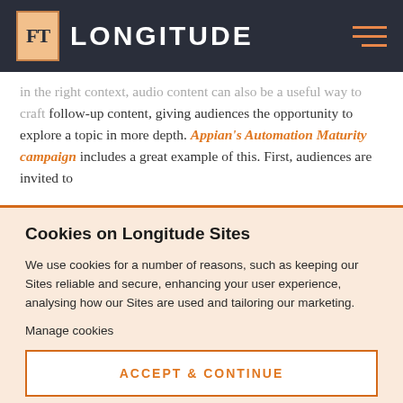FT LONGITUDE
in the right context, audio content can also be a useful way to craft follow-up content, giving audiences the opportunity to explore a topic in more depth. Appian's Automation Maturity campaign includes a great example of this. First, audiences are invited to
Cookies on Longitude Sites
We use cookies for a number of reasons, such as keeping our Sites reliable and secure, enhancing your user experience, analysing how our Sites are used and tailoring our marketing.
Manage cookies
ACCEPT & CONTINUE